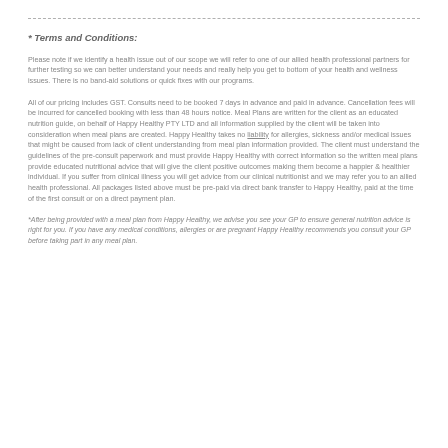* Terms and Conditions:
Please note if we identify a health issue out of our scope we will refer to one of our allied health professional partners for further testing so we can better understand your needs and really help you get to bottom of your health and wellness issues. There is no band-aid solutions or quick fixes with our programs.
All of our pricing includes GST. Consults need to be booked 7 days in advance and paid in advance. Cancellation fees will be incurred for cancelled booking with less than 48 hours notice. Meal Plans are written for the client as an educated nutrition guide, on behalf of Happy Healthy PTY LTD and all information supplied by the client will be taken into consideration when meal plans are created. Happy Healthy takes no liability for allergies, sickness and/or medical issues that might be caused from lack of client understanding from meal plan information provided. The client must understand the guidelines of the pre-consult paperwork and must provide Happy Healthy with correct information so the written meal plans  provide educated nutritional advice that will give the client positive outcomes making them become a happier & healthier individual. If you suffer from clinical illness you will get advice from our clinical nutritionist and we may refer you to an allied health professional. All packages listed above must be pre-paid via direct bank transfer to Happy Healthy, paid at the time of the first consult or on a direct payment plan.
*After being provided with a meal plan from Happy Healthy, we advise you see your GP to ensure general nutrition advice is right for you. If you have any medical conditions, allergies or are pregnant Happy Healthy recommends you consult your GP before taking part in any meal plan.